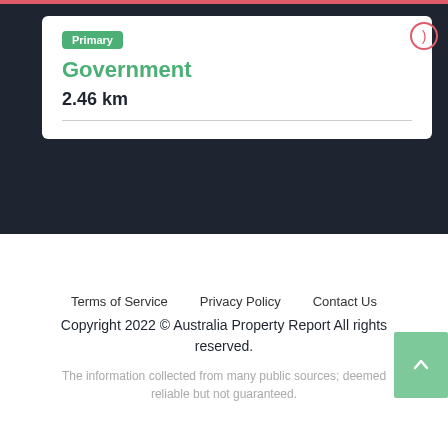Primary
Government
2.46 km
Terms of Service   Privacy Policy   Contact Us
Copyright 2022 © Australia Property Report All rights reserved.
The information collected from many public sources; deemed reliable but not guaranteed.